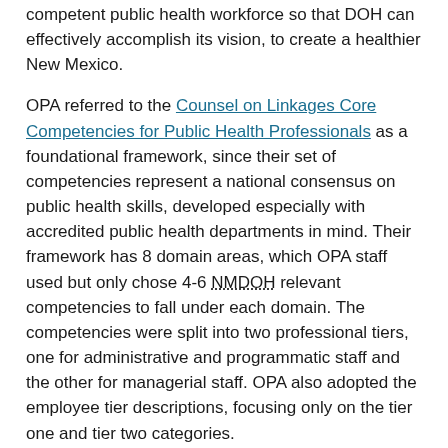competent public health workforce so that DOH can effectively accomplish its vision, to create a healthier New Mexico.
OPA referred to the Counsel on Linkages Core Competencies for Public Health Professionals as a foundational framework, since their set of competencies represent a national consensus on public health skills, developed especially with accredited public health departments in mind. Their framework has 8 domain areas, which OPA staff used but only chose 4-6 NMDOH relevant competencies to fall under each domain. The competencies were split into two professional tiers, one for administrative and programmatic staff and the other for managerial staff. OPA also adopted the employee tier descriptions, focusing only on the tier one and tier two categories.
Tier One Employee Description